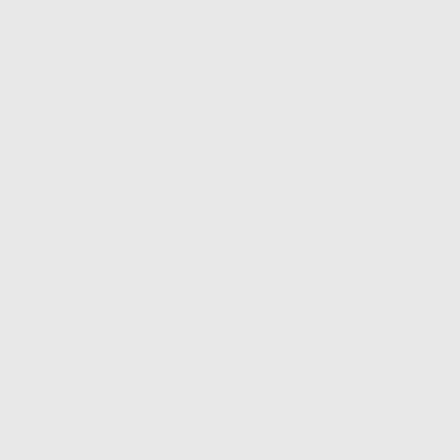| Number | State | Carrier |  |
| --- | --- | --- | --- |
| 513-912 | OH | ONVOY, LLC - OH (Inteliquent) | 4 |
| Thousands block for 513-912 |  |  |  |
| 513-912-0 | OH | ONVOY, LLC - OH (Inteliquent) | 4 |
| 513-912-1 | OH | ONVOY, LLC - OH (Inteliquent) | 4 |